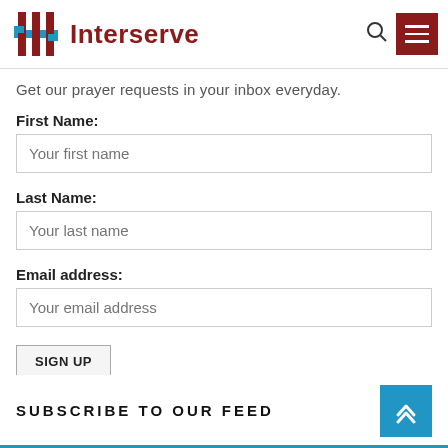[Figure (logo): Interserve logo with cross/grid icon in dark red and blue, with the text 'Interserve' in dark red]
Get our prayer requests in your inbox everyday.
First Name:
Your first name
Last Name:
Your last name
Email address:
Your email address
SIGN UP
SUBSCRIBE TO OUR FEED